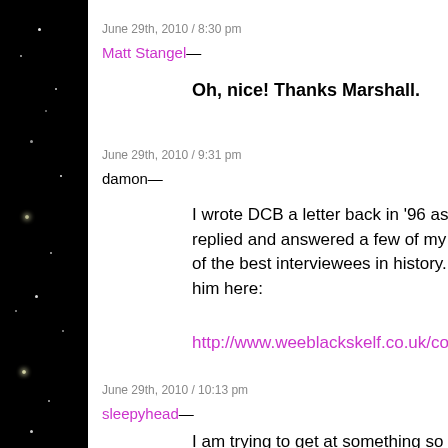June 29th, 2010 / 8:30 pm
Matt Stangel—
Oh, nice! Thanks Marshall.
June 29th, 2010 / 9:31 pm
damon—
I wrote DCB a letter back in '96 asking for replied and answered a few of my inane q of the best interviewees in history. You ca him here:
http://www.weeblackskelf.co.uk/cordsuit/
June 29th, 2010 / 10:13 pm
sleepyhead—
I am trying to get at something so simple